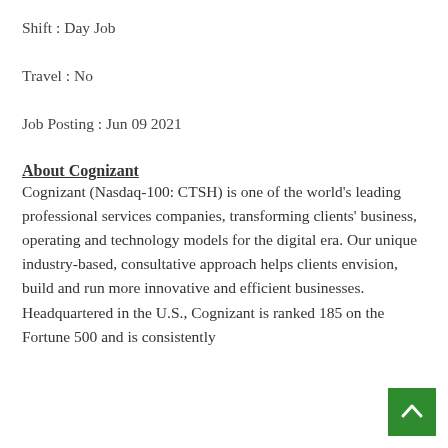Shift : Day Job
Travel : No
Job Posting : Jun 09 2021
About Cognizant
Cognizant (Nasdaq-100: CTSH) is one of the world's leading professional services companies, transforming clients' business, operating and technology models for the digital era. Our unique industry-based, consultative approach helps clients envision, build and run more innovative and efficient businesses. Headquartered in the U.S., Cognizant is ranked 185 on the Fortune 500 and is consistently